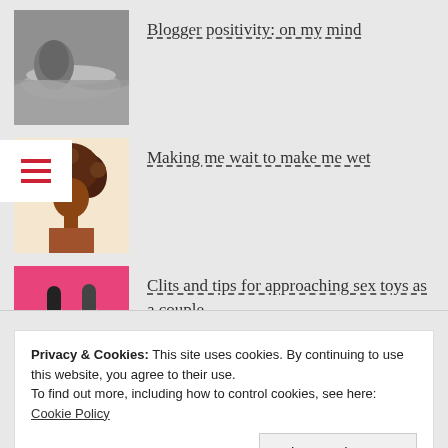[Figure (photo): Black and white photo thumbnail of ocean/beach scene]
Blogger positivity: on my mind
[Figure (illustration): Illustration of a Black woman with afro hair and jewelry]
Making me wait to make me wet
[Figure (photo): Photo of hands holding sex toys on pink background]
Clits and tips for approaching sex toys as a couple
Privacy & Cookies: This site uses cookies. By continuing to use this website, you agree to their use.
To find out more, including how to control cookies, see here: Cookie Policy
Close and accept